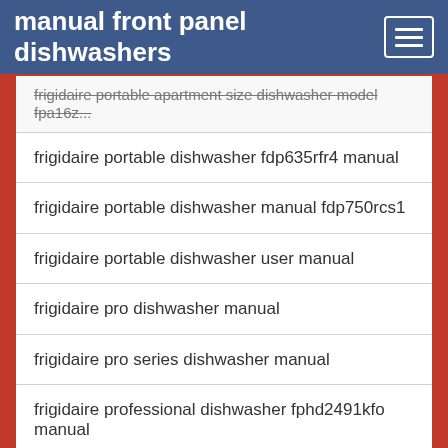manual front panel dishwashers
frigidaire portable apartment size dishwasher model fpa16z...
frigidaire portable dishwasher fdp635rfr4 manual
frigidaire portable dishwasher manual fdp750rcs1
frigidaire portable dishwasher user manual
frigidaire pro dishwasher manual
frigidaire pro series dishwasher manual
frigidaire professional dishwasher fphd2491kfo manual
frigidaire professional dishwasher fpid2495qf manual
frigidaire professional dishwasher installation manual
frigidaire professional dishwasher manual fpid2497rf
frigidaire professional dishwasher manual fpid2498sf